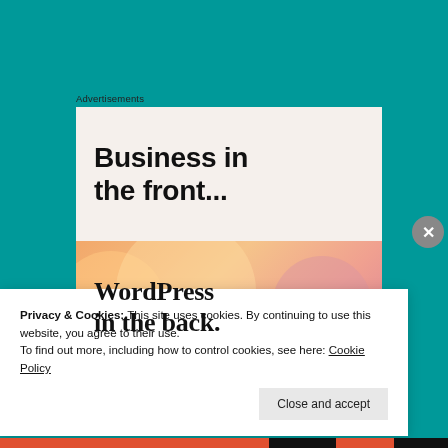[Figure (screenshot): Teal background with WordPress advertisement showing 'Business in the front...' in top beige section and 'WordPress in the back.' in bottom orange/peach gradient section with decorative circles]
Advertisements
Privacy & Cookies: This site uses cookies. By continuing to use this website, you agree to their use.
To find out more, including how to control cookies, see here: Cookie Policy
Close and accept